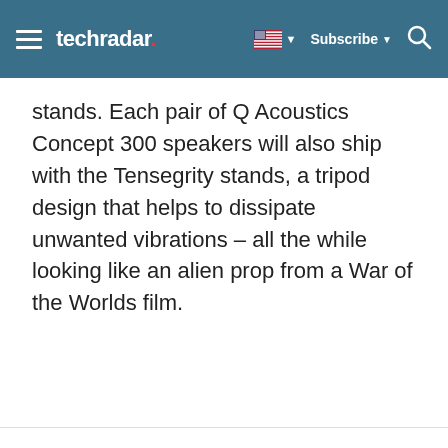techradar | Subscribe
stands. Each pair of Q Acoustics Concept 300 speakers will also ship with the Tensegrity stands, a tripod design that helps to dissipate unwanted vibrations – all the while looking like an alien prop from a War of the Worlds film.